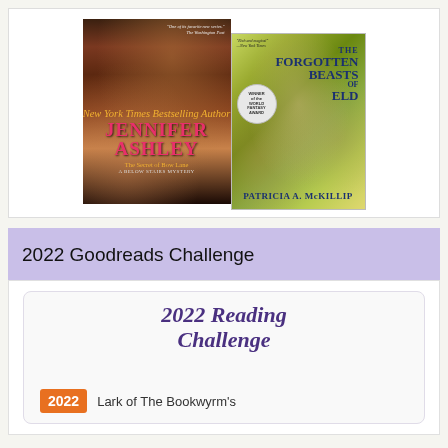[Figure (illustration): Two book covers side by side. Left: 'The Secret of Bow Lane' by Jennifer Ashley (A Below Stairs Mystery), dark atmospheric cover with woman in Victorian dress walking up stairs toward church steeple. Right: 'The Forgotten Beasts of Eld' by Patricia A. McKillip, fantasy cover with white-haired woman, dragon, and lion, winner of the World Fantasy Award.]
2022 Goodreads Challenge
2022 Reading Challenge
2022 Lark of The Bookwyrm's